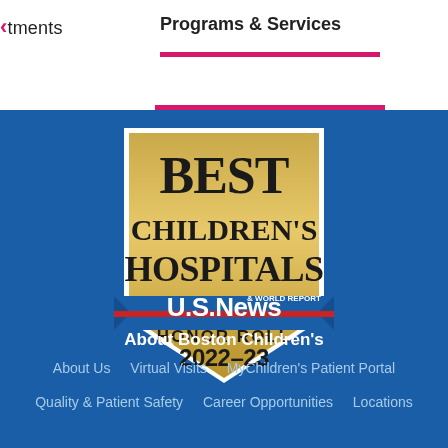Treatments   Programs & Services
[Figure (logo): Best Children's Hospitals U.S. News & World Report Honor Roll 2022-23 badge/shield in gold and blue]
About Boston Children's
About Us   Virtual Visits   MyChildren's Patient Portal
Quality & Patient Safety   Career Opportunities   Locations